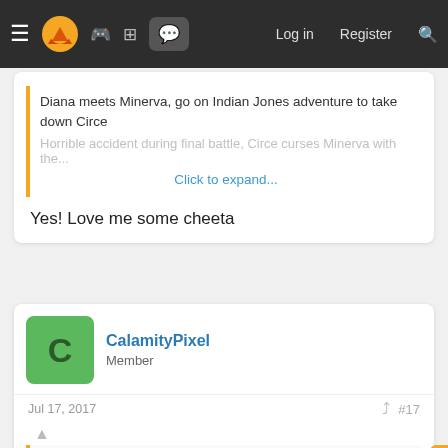≡ [logo] [gamepad] [grid] [chat] Log in Register [search]
Diana meets Minerva, go on Indian Jones adventure to take down Circe
Horrible accident during final battle, Circe curses Minerva with the...
Click to expand...
Yes! Love me some cheeta
CalamityPixel
Member
Jul 17, 2017
#17
Lights and Waves said: ↑
WW2
Circe brings back Steve Rogers